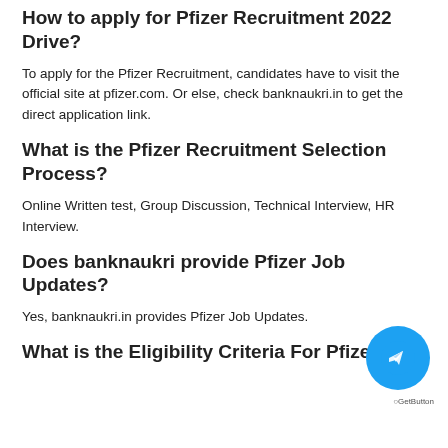How to apply for Pfizer Recruitment 2022 Drive?
To apply for the Pfizer Recruitment, candidates have to visit the official site at pfizer.com. Or else, check banknaukri.in to get the direct application link.
What is the Pfizer Recruitment Selection Process?
Online Written test, Group Discussion, Technical Interview, HR Interview.
Does banknaukri provide Pfizer Job Updates?
Yes, banknaukri.in provides Pfizer Job Updates.
What is the Eligibility Criteria For Pfizer Job?